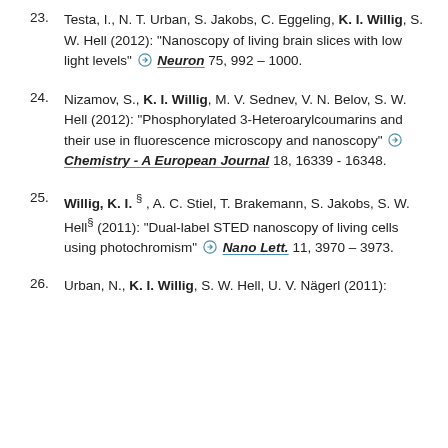23. Testa, I., N. T. Urban, S. Jakobs, C. Eggeling, K. I. Willig, S. W. Hell (2012): "Nanoscopy of living brain slices with low light levels" ⓐ Neuron 75, 992 – 1000.
24. Nizamov, S., K. I. Willig, M. V. Sednev, V. N. Belov, S. W. Hell (2012): "Phosphorylated 3-Heteroarylcoumarins and their use in fluorescence microscopy and nanoscopy" ⓐ Chemistry - A European Journal 18, 16339 - 16348.
25. Willig, K. I. §, A. C. Stiel, T. Brakemann, S. Jakobs, S. W. Hell§ (2011): "Dual-label STED nanoscopy of living cells using photochromism" ⓐ Nano Lett. 11, 3970 – 3973.
26. Urban, N., K. I. Willig, S. W. Hell, U. V. Nägerl (2011):